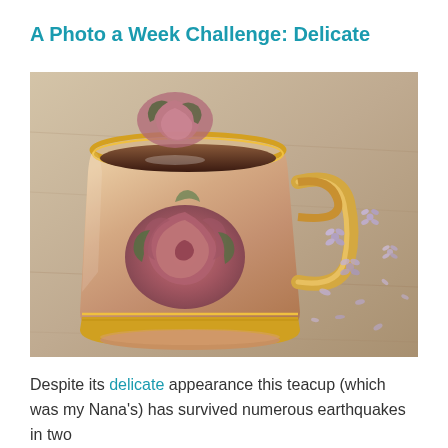A Photo a Week Challenge: Delicate
[Figure (photo): A porcelain teacup with rose floral pattern and gold trim, containing tea, placed on a wooden surface with scattered small purple flowers around it.]
Despite its delicate appearance this teacup (which was my Nana's) has survived numerous earthquakes in two